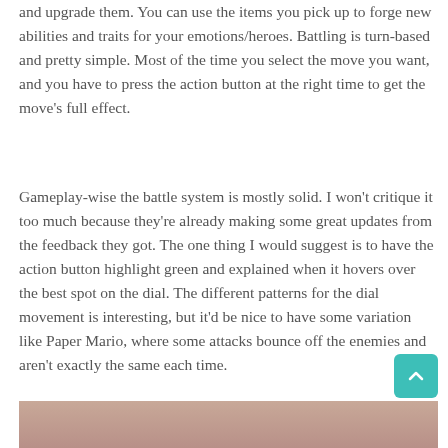and upgrade them. You can use the items you pick up to forge new abilities and traits for your emotions/heroes. Battling is turn-based and pretty simple. Most of the time you select the move you want, and you have to press the action button at the right time to get the move's full effect.
Gameplay-wise the battle system is mostly solid. I won't critique it too much because they're already making some great updates from the feedback they got. The one thing I would suggest is to have the action button highlight green and explained when it hovers over the best spot on the dial. The different patterns for the dial movement is interesting, but it'd be nice to have some variation like Paper Mario, where some attacks bounce off the enemies and aren't exactly the same each time.
[Figure (photo): Partial view of a game screenshot showing characters, cropped at the bottom of the page]